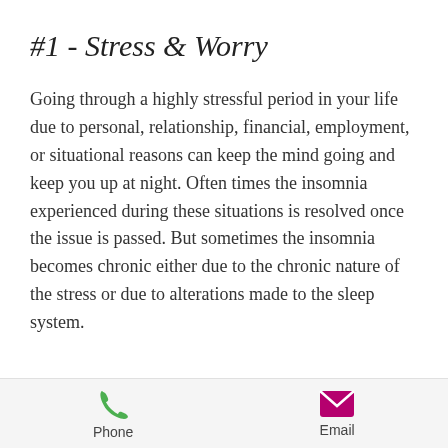#1 - Stress & Worry
Going through a highly stressful period in your life due to personal, relationship, financial, employment, or situational reasons can keep the mind going and keep you up at night. Often times the insomnia experienced during these situations is resolved once the issue is passed. But sometimes the insomnia becomes chronic either due to the chronic nature of the stress or due to alterations made to the sleep system.
[Figure (infographic): Footer bar with Phone icon (green phone handset SVG) labeled 'Phone' and Email icon (magenta/pink envelope SVG) labeled 'Email']